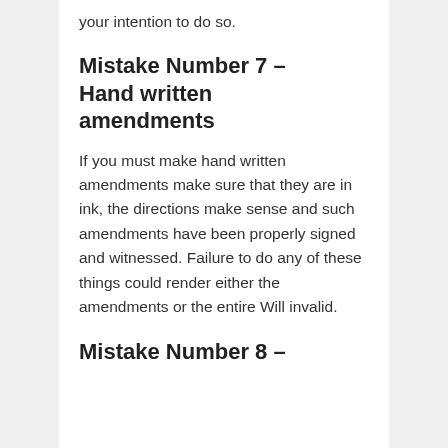your intention to do so.
Mistake Number 7 – Hand written amendments
If you must make hand written amendments make sure that they are in ink, the directions make sense and such amendments have been properly signed and witnessed. Failure to do any of these things could render either the amendments or the entire Will invalid.
Mistake Number 8 –